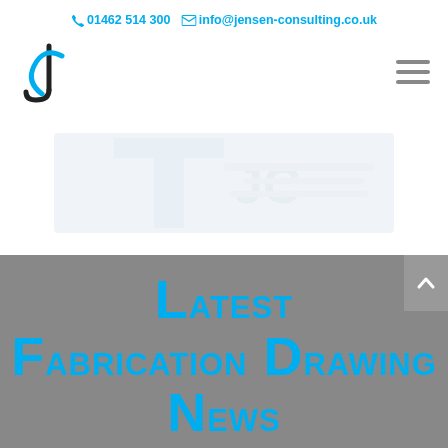01462 514 300   info@jensen-consulting.co.uk
[Figure (logo): Jensen Consulting JC monogram logo mark in dark blue/black]
[Figure (logo): Faded Jensen Consulting logo/banner image watermark in hero area]
Latest Fabrication Drawing News